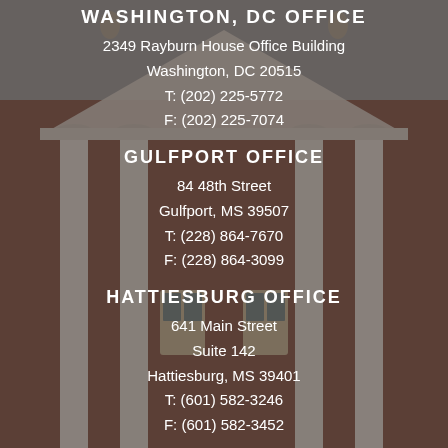WASHINGTON, DC OFFICE
2349 Rayburn House Office Building
Washington, DC 20515
T: (202) 225-5772
F: (202) 225-7074
GULFPORT OFFICE
84 48th Street
Gulfport, MS 39507
T: (228) 864-7670
F: (228) 864-3099
HATTIESBURG OFFICE
641 Main Street
Suite 142
Hattiesburg, MS 39401
T: (601) 582-3246
F: (601) 582-3452
PASCAGOULA OFFICE